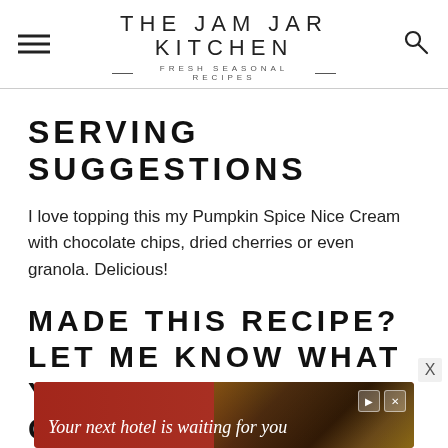THE JAM JAR KITCHEN — FRESH SEASONAL RECIPES
SERVING SUGGESTIONS
I love topping this my Pumpkin Spice Nice Cream with chocolate chips, dried cherries or even granola. Delicious!
MADE THIS RECIPE? LET ME KNOW WHAT YOU THINK IN THE COMMENTS!
[Figure (other): Advertisement banner: red background with text 'Your next hotel is waiting for you' and an image of a hotel/resort]